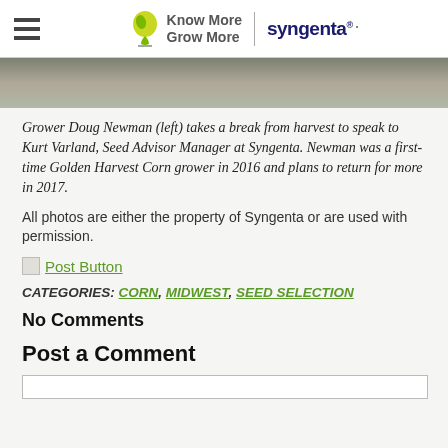Know More Grow More | syngenta.
[Figure (photo): Partial photo strip showing people in a field during harvest]
Grower Doug Newman (left) takes a break from harvest to speak to Kurt Varland, Seed Advisor Manager at Syngenta. Newman was a first-time Golden Harvest Corn grower in 2016 and plans to return for more in 2017.
All photos are either the property of Syngenta or are used with permission.
Post Button
CATEGORIES: CORN, MIDWEST, SEED SELECTION
No Comments
Post a Comment